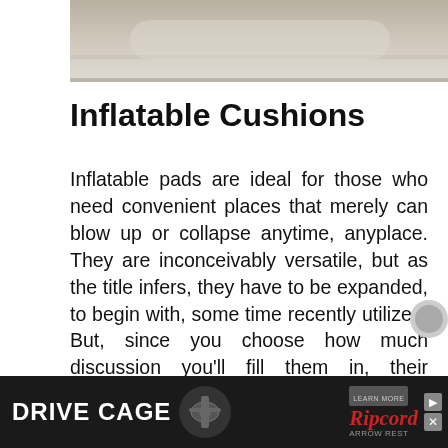[Figure (photo): Partial photo showing what appears to be light-colored cushioned seating or upholstery, cropped at the top of the page.]
Inflatable Cushions
Inflatable pads are ideal for those who need convenient places that merely can blow up or collapse anytime, anyplace. They are inconceivably versatile, but as the title infers, they have to be expanded, to begin with, some time recently utilized. But, since you choose how much discussion you'll fill them in, their immovability gets to be effortlessly customizable.
[Figure (infographic): Advertisement banner with dark background showing 'DRIVE CAGE' text in white on the left with a headset/device image, and 'Ripcord Arrow Rest' brand logo in red italic text on the right with LEARN MORE label and close button.]